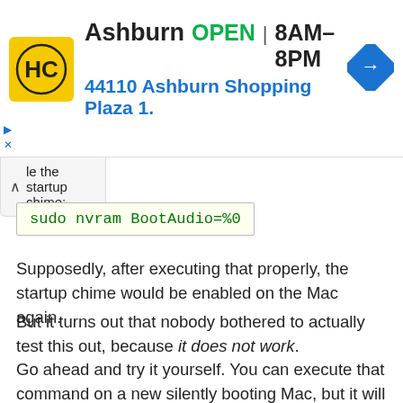[Figure (other): Advertisement banner for HC (Haverty's or similar) store in Ashburn. Shows logo, OPEN status, hours 8AM-8PM, address 44110 Ashburn Shopping Plaza 1., and navigation arrow icon.]
le the startup chime:
Supposedly, after executing that properly, the startup chime would be enabled on the Mac again.
But it turns out that nobody bothered to actually test this out, because it does not work.
Go ahead and try it yourself. You can execute that command on a new silently booting Mac, but it will not actually re-enable the startup boot chime sound effect on a Mac which does not support the startup chime sound.